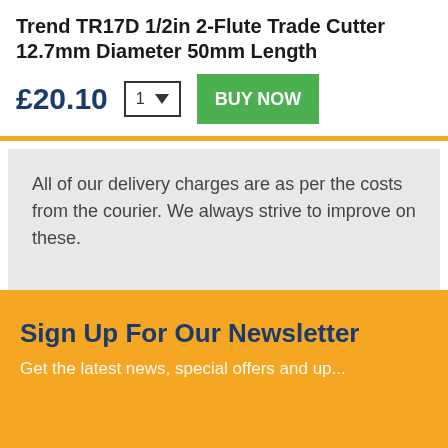Trend TR17D 1/2in 2-Flute Trade Cutter 12.7mm Diameter 50mm Length
£20.10
All of our delivery charges are as per the costs from the courier. We always strive to improve on these.
Sign Up For Our Newsletter
Get the latest news, special offers and up...